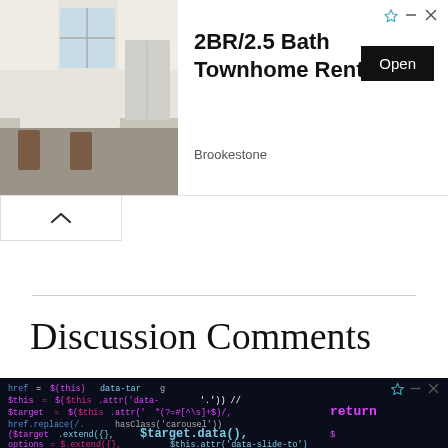[Figure (screenshot): Advertisement banner for 2BR/2.5 Bath Townhome Rentals by Brookestone with kitchen photo and Open button]
Discussion Comments
[Figure (photo): Dark screen showing JavaScript/jQuery code with colorful syntax highlighting including lines with $(this), $this.attr, data-target, carousel, $target.data(), slideIndex, options.interval = false, plugin.call($target, options)]